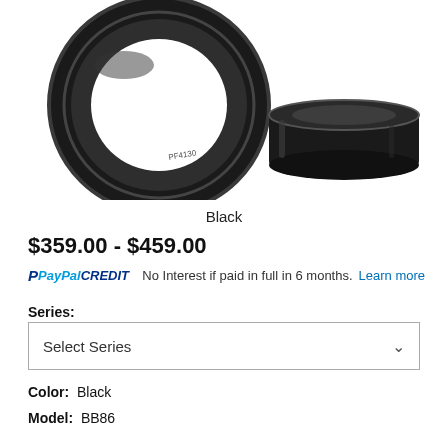[Figure (photo): Two black bicycle bottom bracket cups/bearings. Left shows the round ring face-on with 'PF4130' text visible. Right shows the same component from the side, cylindrical profile.]
Black
$359.00 - $459.00
PayPal CREDIT  No Interest if paid in full in 6 months. Learn more
Series:
Select Series
Color:  Black
Model:  BB86